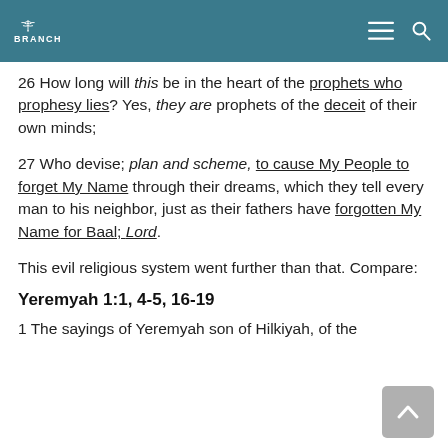BRANCH
26 How long will this be in the heart of the prophets who prophesy lies? Yes, they are prophets of the deceit of their own minds;
27 Who devise; plan and scheme, to cause My People to forget My Name through their dreams, which they tell every man to his neighbor, just as their fathers have forgotten My Name for Baal; Lord.
This evil religious system went further than that. Compare:
Yeremyah 1:1, 4-5, 16-19
1 The sayings of Yeremyah son of Hilkiyah, of the